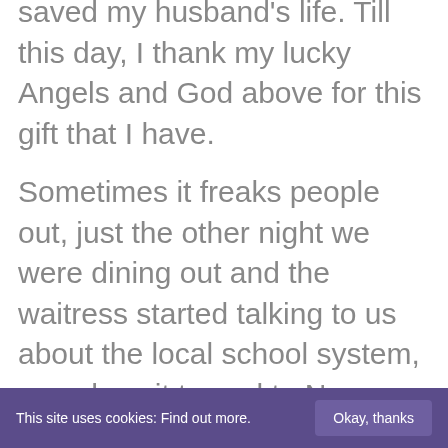saved my husband's life. Till this day, I thank my lucky Angels and God above for this gift that I have.
Sometimes it freaks people out, just the other night we were dining out and the waitress started talking to us about the local school system, somehow it turned to New Jersey and her dad, without realizing it I started reading her and told her it must be hard for Dad with her Mom passing. My Angels shared with me that she came from a big Italian family. I told her how her Dad may be struggling now but that he would soon be better because his faith was so strong.
This site uses cookies: Find out more.  Okay, thanks